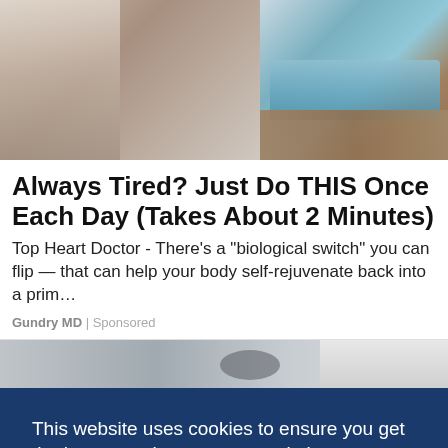[Figure (photo): An advertisement image showing a man in a suit on the left side and a decorative bowl or pot on the right side with sandy/earthy texture and blue tiled border]
Always Tired? Just Do THIS Once Each Day (Takes About 2 Minutes)
Top Heart Doctor - There’s a “biological switch” you can flip — that can help your body self-rejuvenate back into a prim…
Gundry MD | Sponsored
[Figure (screenshot): Partial view of a second advertisement below the first, partially obscured by cookie consent banner]
This website uses cookies to ensure you get the best experience on our website.
Learn more
Got it!